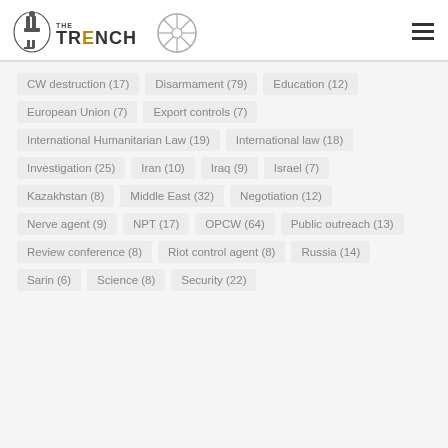The Trench
CW destruction (17)
Disarmament (79)
Education (12)
European Union (7)
Export controls (7)
International Humanitarian Law (19)
International law (18)
Investigation (25)
Iran (10)
Iraq (9)
Israel (7)
Kazakhstan (8)
Middle East (32)
Negotiation (12)
Nerve agent (9)
NPT (17)
OPCW (64)
Public outreach (13)
Review conference (8)
Riot control agent (8)
Russia (14)
Sarin (6)
Science (8)
Security (22)